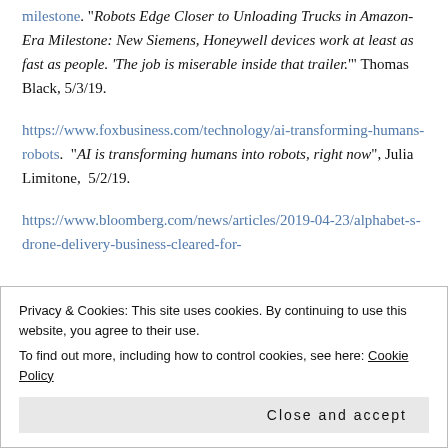milestone. "Robots Edge Closer to Unloading Trucks in Amazon-Era Milestone: New Siemens, Honeywell devices work at least as fast as people. 'The job is miserable inside that trailer.'" Thomas Black, 5/3/19.
https://www.foxbusiness.com/technology/ai-transforming-humans-robots. "AI is transforming humans into robots, right now", Julia Limitone, 5/2/19.
https://www.bloomberg.com/news/articles/2019-04-23/alphabet-s-drone-delivery-business-cleared-for-
Privacy & Cookies: This site uses cookies. By continuing to use this website, you agree to their use.
To find out more, including how to control cookies, see here: Cookie Policy
Close and accept